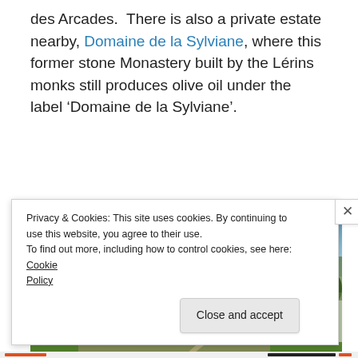des Arcades.  There is also a private estate nearby, Domaine de la Sylviane, where this former stone Monastery built by the Lérins monks still produces olive oil under the label ‘Domaine de la Sylviane’.
[Figure (photo): Aerial view of Domaine de la Sylviane, a stone monastery estate surrounded by olive trees and vegetation, with mountains in the background and a blue sky.]
Privacy & Cookies: This site uses cookies. By continuing to use this website, you agree to their use.
To find out more, including how to control cookies, see here: Cookie Policy
Close and accept